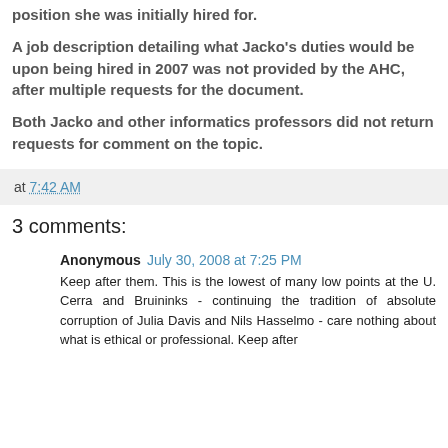position she was initially hired for.
A job description detailing what Jacko's duties would be upon being hired in 2007 was not provided by the AHC, after multiple requests for the document.
Both Jacko and other informatics professors did not return requests for comment on the topic.
at 7:42 AM
3 comments:
Anonymous July 30, 2008 at 7:25 PM
Keep after them. This is the lowest of many low points at the U. Cerra and Bruininks - continuing the tradition of absolute corruption of Julia Davis and Nils Hasselmo - care nothing about what is ethical or professional. Keep after